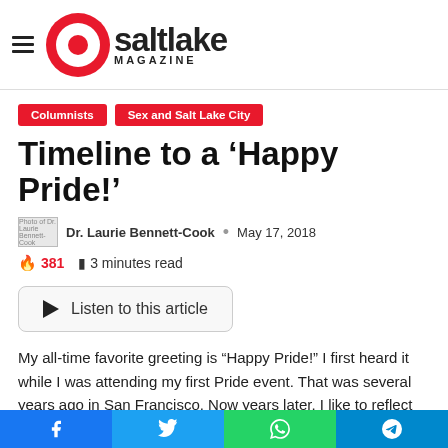Q Salt Lake Magazine
Columnists
Sex and Salt Lake City
Timeline to a ‘Happy Pride!’
Dr. Laurie Bennett-Cook • May 17, 2018
381 🔥 3 minutes read
Listen to this article
My all-time favorite greeting is “Happy Pride!” I first heard it while I was attending my first Pride event. That was several years ago in San Francisco. Now years later, I like to reflect on